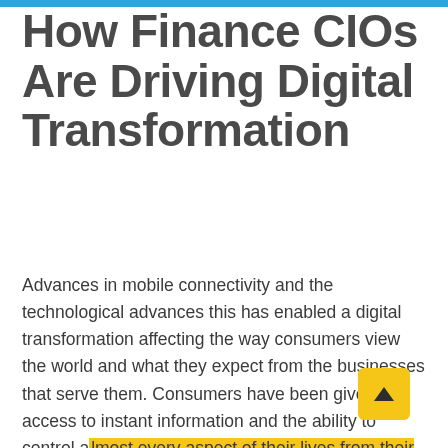How Finance CIOs Are Driving Digital Transformation
Advances in mobile connectivity and the technological advances this has enabled a digital transformation affecting the way consumers view the world and what they expect from the businesses that serve them. Consumers have been given access to instant information and the ability to control almost every aspect of their lives from their smartphone. Fueling demand for speed and convenience and real-time customer support that is disrupting traditional business models. CIOs are leading this technological